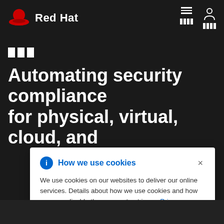[Figure (logo): Red Hat logo with red hat icon and white 'Red Hat' text on dark background, with hamburger menu and user/grid icons in top right]
Automating security compliance for physical, virtual, cloud, and
[Figure (screenshot): Cookie consent popup overlay: 'How we use cookies' header with blue info icon and X close button. Body text: 'We use cookies on our websites to deliver our online services. Details about how we use cookies and how you may disable them are set out in our Privacy Statement. By using this website you agree to our use of cookies.']